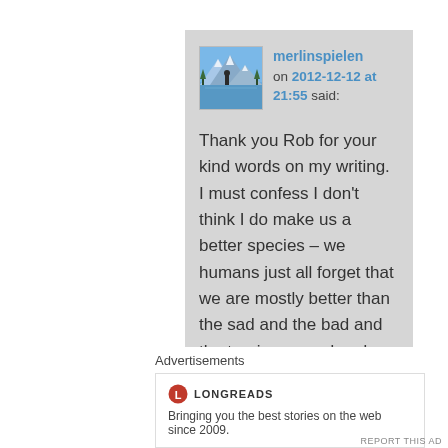[Figure (photo): User avatar photo showing a mountain lake scene with a person, belonging to user merlinspielen]
merlinspielen on 2012-12-12 at 21:55 said:
Thank you Rob for your kind words on my writing. I must confess I don't think I do make us a better species – we humans just all forget that we are mostly better than the sad and the bad and the tragic we read and see on the news. Merry Christmas and Happy New Year back at
Advertisements
[Figure (logo): Longreads logo — red circle L icon with LONGREADS text]
Bringing you the best stories on the web since 2009.